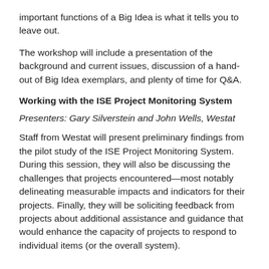important functions of a Big Idea is what it tells you to leave out.
The workshop will include a presentation of the background and current issues, discussion of a hand-out of Big Idea exemplars, and plenty of time for Q&A.
Working with the ISE Project Monitoring System
Presenters: Gary Silverstein and John Wells, Westat
Staff from Westat will present preliminary findings from the pilot study of the ISE Project Monitoring System. During this session, they will also be discussing the challenges that projects encountered—most notably delineating measurable impacts and indicators for their projects. Finally, they will be soliciting feedback from projects about additional assistance and guidance that would enhance the capacity of projects to respond to individual items (or the overall system).